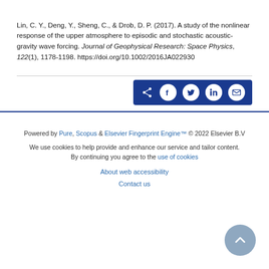Lin, C. Y., Deng, Y., Sheng, C., & Drob, D. P. (2017). A study of the nonlinear response of the upper atmosphere to episodic and stochastic acoustic-gravity wave forcing. Journal of Geophysical Research: Space Physics, 122(1), 1178–1198. https://doi.org/10.1002/2016JA022930
[Figure (other): Social share bar with icons for share, Facebook, Twitter, LinkedIn, and email on dark blue background]
Powered by Pure, Scopus & Elsevier Fingerprint Engine™ © 2022 Elsevier B.V
We use cookies to help provide and enhance our service and tailor content. By continuing you agree to the use of cookies
About web accessibility
Contact us